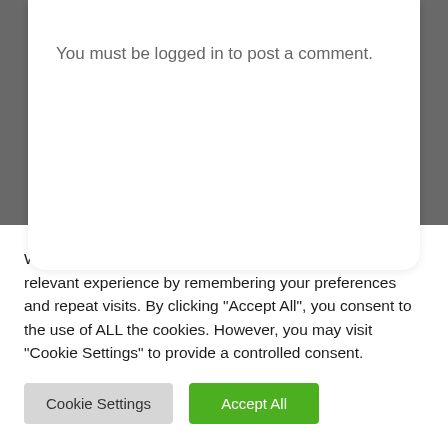You must be logged in to post a comment.
All You Need To Know About Settlement s
We use cookies on our website to give you the most relevant experience by remembering your preferences and repeat visits. By clicking "Accept All", you consent to the use of ALL the cookies. However, you may visit "Cookie Settings" to provide a controlled consent.
Cookie Settings
Accept All